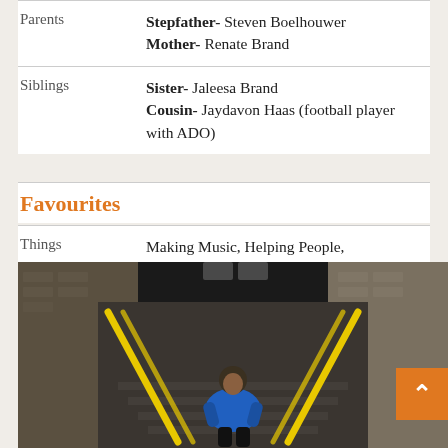|  |  |
| --- | --- |
| Parents | Stepfather- Steven Boelhouwer
Mother- Renate Brand |
| Siblings | Sister- Jaleesa Brand
Cousin- Jaydavon Haas (football player with ADO) |
Favourites
|  |  |
| --- | --- |
| Things | Making Music, Helping People, Entrepreneurship |
[Figure (photo): Person in blue jacket sitting on outdoor stairs with yellow railings, brick walls on both sides, dark tunnel-like background above]